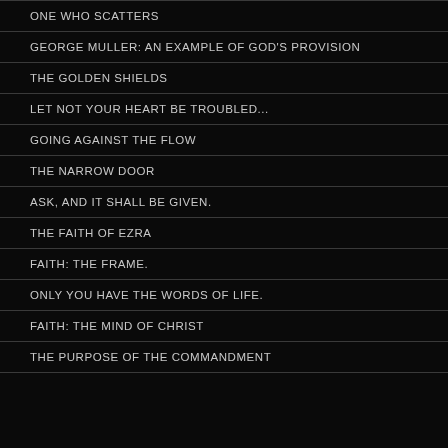ONE WHO SCATTERS
GEORGE MULLER: AN EXAMPLE OF GOD'S PROVISION
THE GOLDEN SHIELDS
LET NOT YOUR HEART BE TROUBLED...
GOING AGAINST THE FLOW
THE NARROW DOOR
ASK, AND IT SHALL BE GIVEN.
THE FAITH OF EZRA
FAITH: THE FRAME.
ONLY YOU HAVE THE WORDS OF LIFE.
FAITH: THE MIND OF CHRIST
THE PURPOSE OF THE COMMANDMENT